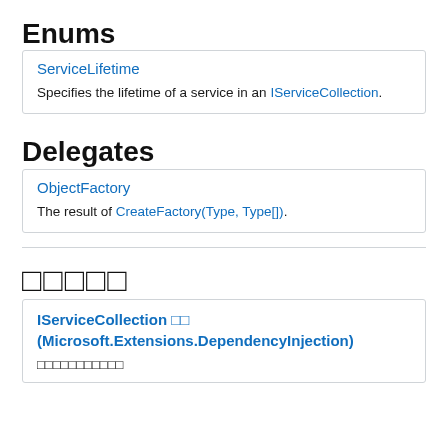Enums
| ServiceLifetime | Specifies the lifetime of a service in an IServiceCollection. |
Delegates
| ObjectFactory | The result of CreateFactory(Type, Type[]). |
□□□□□
| IServiceCollection □□ (Microsoft.Extensions.DependencyInjection) | □□□□□□□□□□□ |